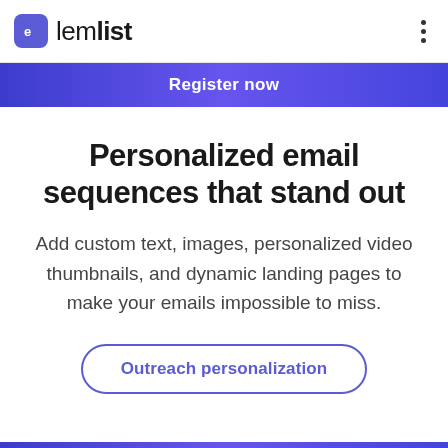lemlist
Register now
Personalized email sequences that stand out
Add custom text, images, personalized video thumbnails, and dynamic landing pages to make your emails impossible to miss.
Outreach personalization